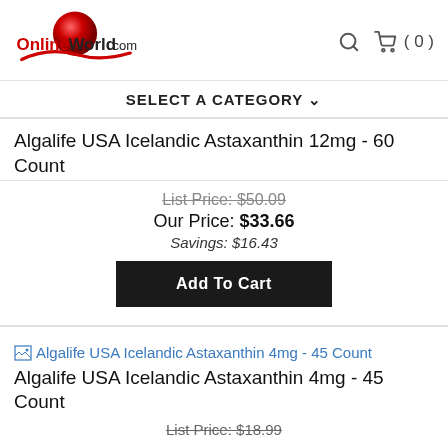[Figure (logo): OnlineWorld.com logo with red sphere and red swoosh]
SELECT A CATEGORY ▾
Algalife USA Icelandic Astaxanthin 12mg - 60 Count
List Price: $50.09
Our Price: $33.66
Savings: $16.43
Add To Cart
[Figure (illustration): Broken image icon for Algalife USA Icelandic Astaxanthin 4mg - 45 Count product]
Algalife USA Icelandic Astaxanthin 4mg - 45 Count
List Price: $18.99